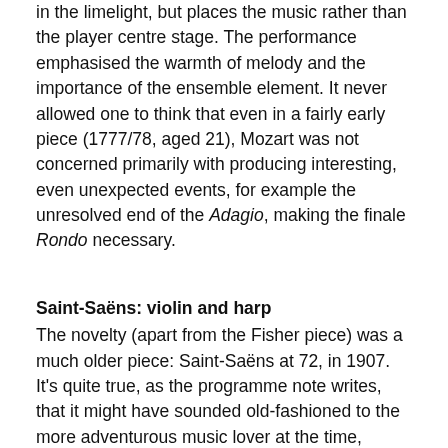in the limelight, but places the music rather than the player centre stage. The performance emphasised the warmth of melody and the importance of the ensemble element. It never allowed one to think that even in a fairly early piece (1777/78, aged 21), Mozart was not concerned primarily with producing interesting, even unexpected events, for example the unresolved end of the Adagio, making the finale Rondo necessary.
Saint-Saëns: violin and harp
The novelty (apart from the Fisher piece) was a much older piece: Saint-Saëns at 72, in 1907. It's quite true, as the programme note writes, that it might have sounded old-fashioned to the more adventurous music lover at the time, though the avant-garde music then starting to emerge would have been quite unknown to the average concert-goer. Nothing essentially 'Second Viennese School' was circulating; Debussy and Ravel, and perhaps the Strauss of Salome, were the radicals of 1907.
But the unusual combination – violin and harp – might have